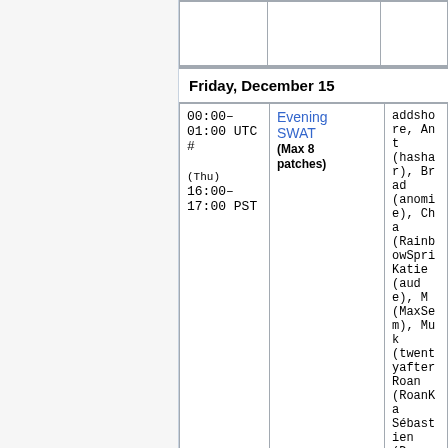| Time | Event | Participants |
| --- | --- | --- |
|  |  |  |
| Friday, December 15 |  |  |
| 00:00–01:00 UTC #
(Thu) 16:00–17:00 PST | Evening SWAT
(Max 8 patches) | addshore, Ant (hashar), Brad (anomie), Cha (RainbowSpri Katie (aude), M (MaxSem), Muk (twentyafter Roan (RoanKa Sébastien (Dereckson), T (thcipriani) Niharika (Niha or Željko (zelj |
Week of December 18th